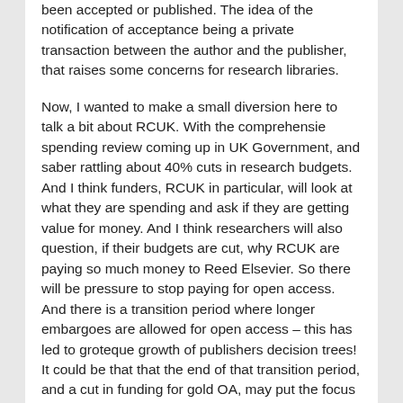been accepted or published. The idea of the notification of acceptance being a private transaction between the author and the publisher, that raises some concerns for research libraries.
Now, I wanted to make a small diversion here to talk a bit about RCUK. With the comprehensie spending review coming up in UK Government, and saber rattling about 40% cuts in research budgets. And I think funders, RCUK in particular, will look at what they are spending and ask if they are getting value for money. And I think researchers will also question, if their budgets are cut, why RCUK are paying so much money to Reed Elsevier. So there will be pressure to stop paying for open access. And there is a transition period where longer embargoes are allowed for open access – this has led to groteque growth of publishers decision trees! It could be that that the end of that transition period, and a cut in funding for gold OA, may put the focus back on repositories. That is an important scenario that we should be thinking seriously about. And the issue of embargoes means I need to say that there is still no harm in shorter embargoes. Any